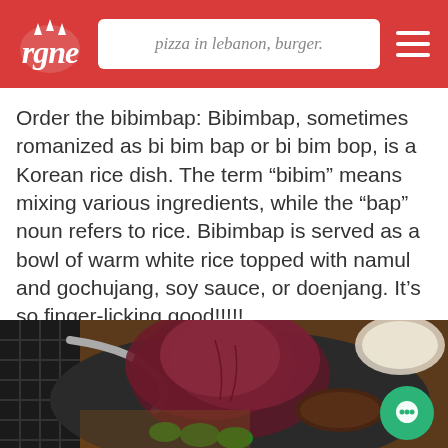pizza in lebanon, burger.
Order the bibimbap: Bibimbap, sometimes romanized as bi bim bap or bi bim bop, is a Korean rice dish. The term “bibim” means mixing various ingredients, while the “bap” noun refers to rice. Bibimbap is served as a bowl of warm white rice topped with namul and gochujang, soy sauce, or doenjang. It’s so finger-licking good!!!!!
[Figure (photo): Close-up photo of a Korean bibimbap dish showing red/purple leaf lettuce, green jalapeño slices, and grilled meat on a dark plate with a grill in the background]